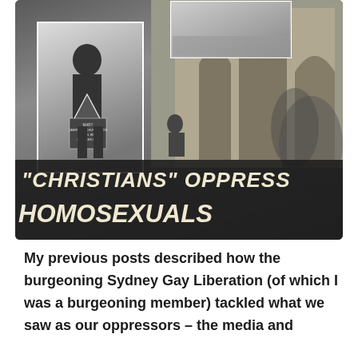[Figure (photo): Black and white photo collage showing protest scene outside a church building with arched doorways. Features an inset photo of a person holding a sign with a downward triangle symbol, and a large protest banner reading '"CHRISTIANS" OPPRESS HOMOSEXUALS'.]
My previous posts described how the burgeoning Sydney Gay Liberation (of which I was a burgeoning member) tackled what we saw as our oppressors – the media and